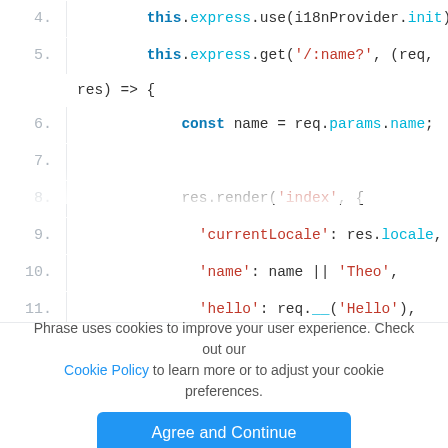[Figure (screenshot): Code editor screenshot showing JavaScript lines 4–19 with syntax highlighting. Keywords in bold blue, strings in red, properties in cyan. Code shows Express.js routes and a start() method with a Promise.]
Phrase uses cookies to improve your user experience. Check out our Cookie Policy to learn more or to adjust your cookie preferences.
Agree and Continue